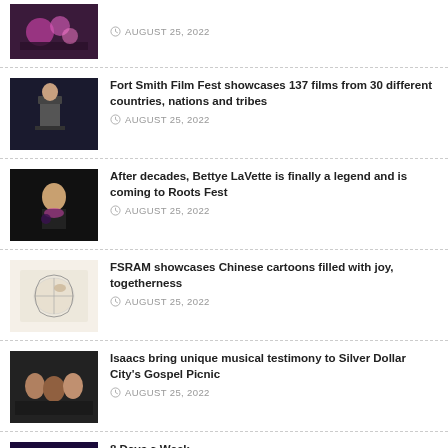AUGUST 25, 2022
Fort Smith Film Fest showcases 137 films from 30 different countries, nations and tribes — AUGUST 25, 2022
After decades, Bettye LaVette is finally a legend and is coming to Roots Fest — AUGUST 25, 2022
FSRAM showcases Chinese cartoons filled with joy, togetherness — AUGUST 25, 2022
Isaacs bring unique musical testimony to Silver Dollar City's Gospel Picnic — AUGUST 25, 2022
8 Days a Week — AUGUST 25, 2022